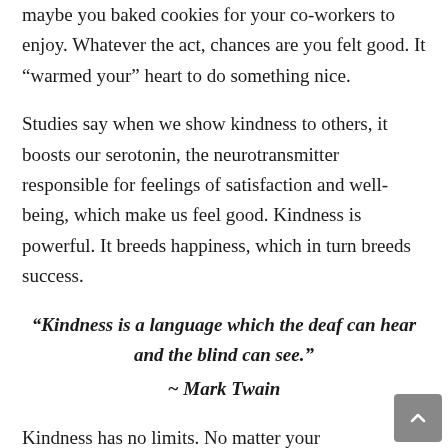maybe you baked cookies for your co-workers to enjoy. Whatever the act, chances are you felt good. It “warmed your” heart to do something nice.
Studies say when we show kindness to others, it boosts our serotonin, the neurotransmitter responsible for feelings of satisfaction and well-being, which make us feel good. Kindness is powerful. It breeds happiness, which in turn breeds success.
“Kindness is a language which the deaf can hear and the blind can see.”
~ Mark Twain
Kindness has no limits. No matter your